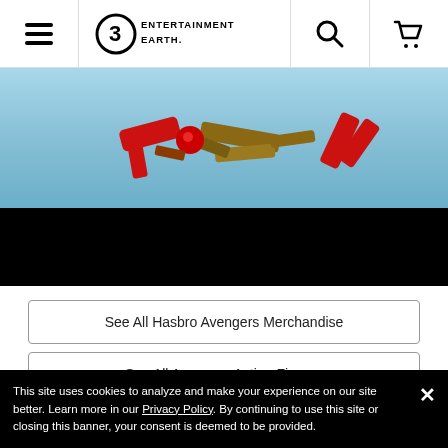Entertainment Earth
[Figure (photo): Product photo showing Avengers action figures/toy parts (red and brown colored pieces) scattered on a light blue surface, with a black lower portion]
See All Hasbro Avengers Merchandise
See All Avengers Action Figures
See All Hasbro Action Figures
See All Avengers Items
This site uses cookies to analyze and make your experience on our site better. Learn more in our Privacy Policy. By continuing to use this site or closing this banner, your consent is deemed to be provided.